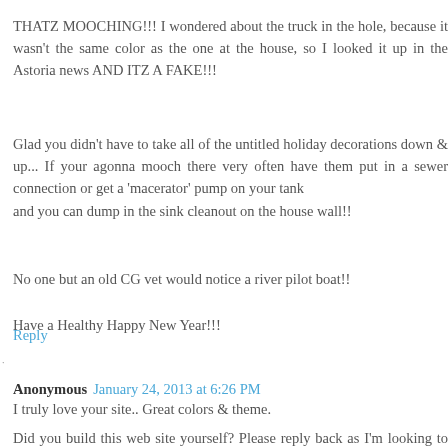THATZ MOOCHING!!! I wondered about the truck in the hole, because it wasn't the same color as the one at the house, so I looked it up in the Astoria news AND ITZ A FAKE!!!
Glad you didn't have to take all of the untitled holiday decorations down & up... If your agonna mooch there very often have them put in a sewer connection or get a 'macerator' pump on your tank
and you can dump in the sink cleanout on the house wall!!
No one but an old CG vet would notice a river pilot boat!!
Have a Healthy Happy New Year!!!
Reply
Anonymous January 24, 2013 at 6:26 PM
I truly love your site.. Great colors & theme.
Did you build this web site yourself? Please reply back as I'm looking to create my very own site and want to find